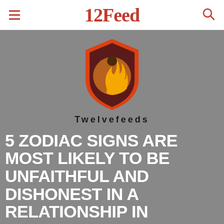12Feed
[Figure (logo): Twelvefeeds shield logo with orange/yellow flame figure on dark maroon background, with red/orange border. Text below reads 'Twelvefeeds' in bold spaced letters.]
5 ZODIAC SIGNS ARE MOST LIKELY TO BE UNFAITHFUL AND DISHONEST IN A RELATIONSHIP IN